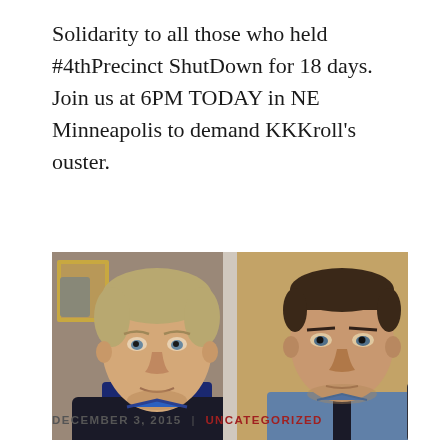Solidarity to all those who held #4thPrecinct ShutDown for 18 days. Join us at 6PM TODAY in NE Minneapolis to demand KKKroll's ouster.
[Figure (photo): Two side-by-side photos of men. Left photo shows an older man with gray-blond hair wearing a dark jacket and blue shirt. Right photo shows a younger man with short dark hair wearing a blue uniform shirt and dark tie.]
DECEMBER 3, 2015  |  UNCATEGORIZED